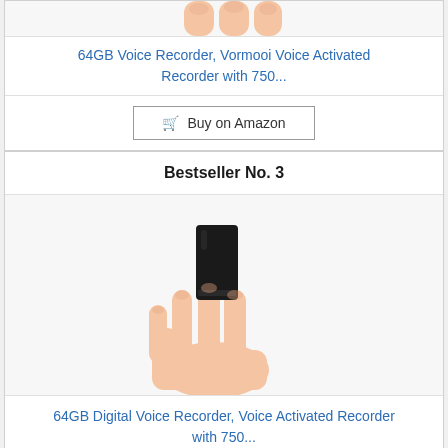[Figure (photo): Partial image of fingers holding a device, cropped at top of page]
64GB Voice Recorder, Vormooi Voice Activated Recorder with 750...
🛒 Buy on Amazon
Bestseller No. 3
[Figure (photo): Hand holding a small black rectangular digital voice recorder device]
64GB Digital Voice Recorder, Voice Activated Recorder with 750...